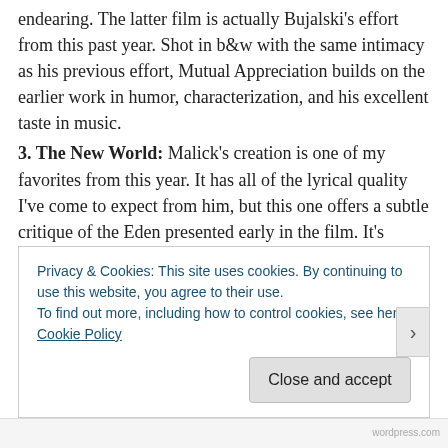endearing. The latter film is actually Bujalski's effort from this past year. Shot in b&w with the same intimacy as his previous effort, Mutual Appreciation builds on the earlier work in humor, characterization, and his excellent taste in music.
3. The New World: Malick's creation is one of my favorites from this year. It has all of the lyrical quality I've come to expect from him, but this one offers a subtle critique of the Eden presented early in the film. It's almost as if the film grows from adolescent to adult before our eyes.
4. Look at Me: Co-Writer/Director/Star Agnès Jaoui has improved upon her debut, The Taste of Others. She has a way of taking a pretty standard story and giving it
Privacy & Cookies: This site uses cookies. By continuing to use this website, you agree to their use.
To find out more, including how to control cookies, see here: Cookie Policy